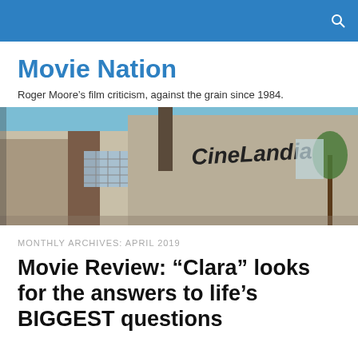Movie Nation
Movie Nation
Roger Moore's film criticism, against the grain since 1984.
[Figure (photo): Exterior of an old cinema building with the sign 'CineLandia' painted on it, photographed against a blue sky.]
MONTHLY ARCHIVES: APRIL 2019
Movie Review: “Clara” looks for the answers to life’s BIGGEST questions